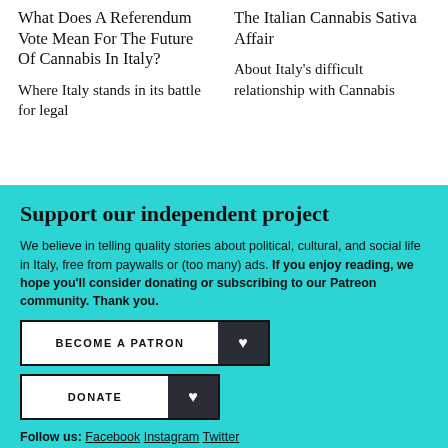What Does A Referendum Vote Mean For The Future Of Cannabis In Italy?
Where Italy stands in its battle for legal
The Italian Cannabis Sativa Affair
About Italy's difficult relationship with Cannabis
Support our independent project
We believe in telling quality stories about political, cultural, and social life in Italy, free from paywalls or (too many) ads. If you enjoy reading, we hope you'll consider donating or subscribing to our Patreon community. Thank you.
BECOME A PATRON ♥
DONATE ♥
Follow us: Facebook Instagram Twitter